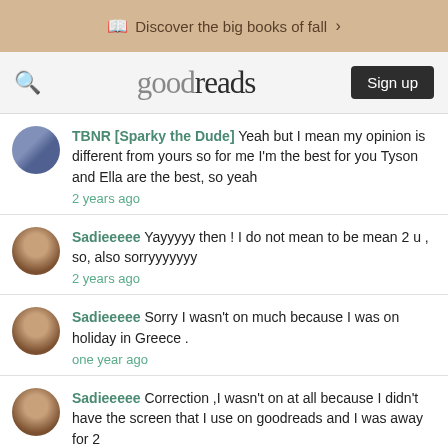Discover the big books of fall >
goodreads  Sign up
TBNR [Sparky the Dude] Yeah but I mean my opinion is different from yours so for me I'm the best for you Tyson and Ella are the best, so yeah
2 years ago
Sadieeeee Yayyyyy then ! I do not mean to be mean 2 u , so, also sorryyyyyyy
2 years ago
Sadieeeee Sorry I wasn't on much because I was on holiday in Greece .
one year ago
Sadieeeee Correction ,I wasn't on at all because I didn't have the screen that I use on goodreads and I was away for 2